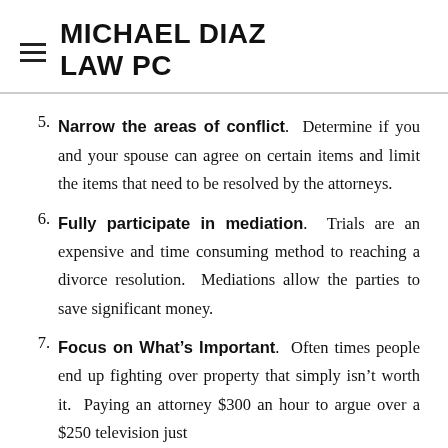MICHAEL DIAZ LAW PC
5. Narrow the areas of conflict. Determine if you and your spouse can agree on certain items and limit the items that need to be resolved by the attorneys.
6. Fully participate in mediation. Trials are an expensive and time consuming method to reaching a divorce resolution. Mediations allow the parties to save significant money.
7. Focus on What's Important. Often times people end up fighting over property that simply isn't worth it. Paying an attorney $300 an hour to argue over a $250 television just